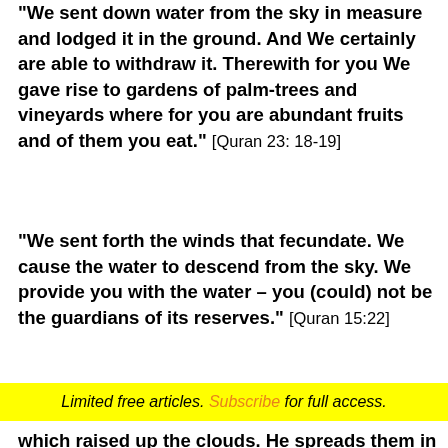"We sent down water from the sky in measure and lodged it in the ground. And We certainly are able to withdraw it. Therewith for you We gave rise to gardens of palm-trees and vineyards where for you are abundant fruits and of them you eat." [Quran 23: 18-19]
"We sent forth the winds that fecundate. We cause the water to descend from the sky. We provide you with the water – you (could) not be the guardians of its reserves." [Quran 15:22]
Limited free articles. Subscribe for full access.
which raised up the clouds. He spreads them in